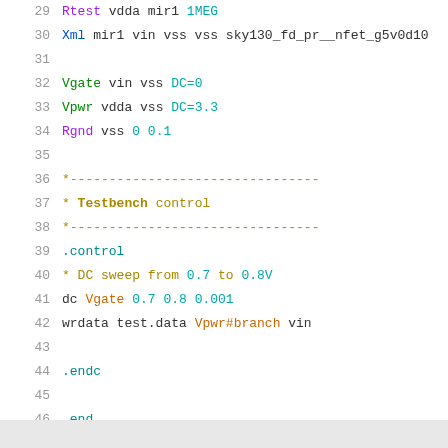29  Rtest vdda mir1 1MEG
30  Xml mir1 vin vss vss sky130_fd_pr__nfet_g5v0d10
31
32  Vgate vin vss DC=0
33  Vpwr vdda vss DC=3.3
34  Rgnd vss 0 0.1
35
36  *--------------------------------
37  * Testbench control
38  *--------------------------------
39  .control
40  * DC sweep from 0.7 to 0.8V
41  dc Vgate 0.7 0.8 0.001
42  wrdata test.data Vpwr#branch vin
43
44  .endc
45
46  .end
47